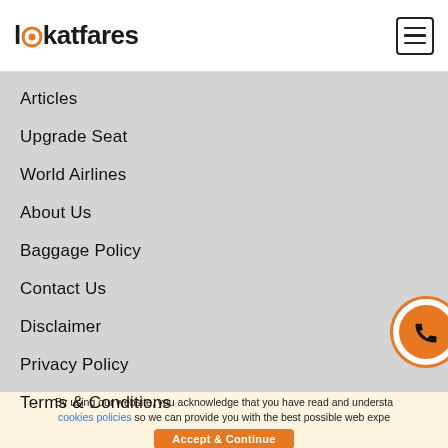lookatfares
Articles
Upgrade Seat
World Airlines
About Us
Baggage Policy
Contact Us
Disclaimer
Privacy Policy
Terms & Conditions
By using our website, you acknowledge that you have read and understood cookies policies so we can provide you with the best possible web experience.
Accept & Continue